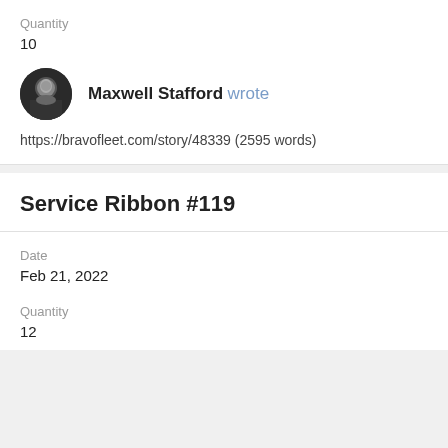Quantity
10
Maxwell Stafford wrote
https://bravofleet.com/story/48339 (2595 words)
Service Ribbon #119
Date
Feb 21, 2022
Quantity
12